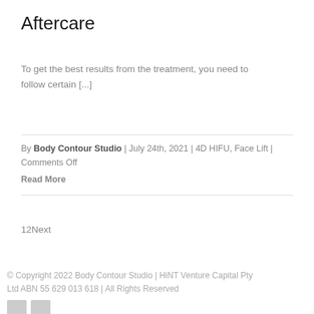Aftercare
To get the best results from the treatment, you need to follow certain [...]
By Body Contour Studio | July 24th, 2021 | 4D HIFU, Face Lift | Comments Off
Read More
12Next
© Copyright 2022 Body Contour Studio | HiNT Venture Capital Pty Ltd ABN 55 629 013 618 | All Rights Reserved